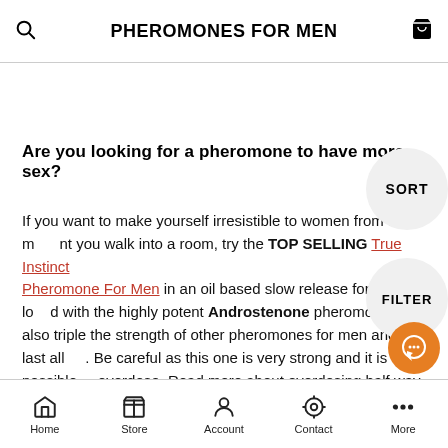PHEROMONES FOR MEN
Are you looking for a pheromone to have more sex?
If you want to make yourself irresistible to women from the moment you walk into a room, try the TOP SELLING True Instinct Pheromone For Men in an oil based slow release formula loaded with the highly potent Androstenone pheromone – it's also triple the strength of other pheromones for men and will last all day. Be careful as this one is very strong and it is very possible to overdose. Read more about overdosing half way down the page here.
Home  Store  Account  Contact  More